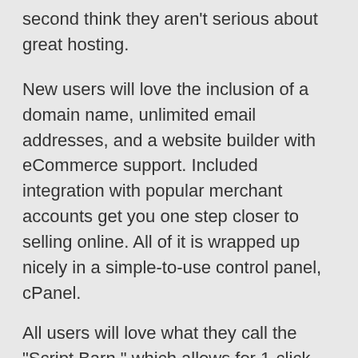second think they aren't serious about great hosting.
New users will love the inclusion of a domain name, unlimited email addresses, and a website builder with eCommerce support. Included integration with popular merchant accounts get you one step closer to selling online. All of it is wrapped up nicely in a simple-to-use control panel, cPanel.
All users will love what they call the "Script Barn," which allows for 1-click installation of popular open-source apps and scripts like WordPress, Joomla, phpBB, and more.
FatCow is a fantastic budget host, with high-budget features and flexibility with which you can easily grow your site.
Included domain name